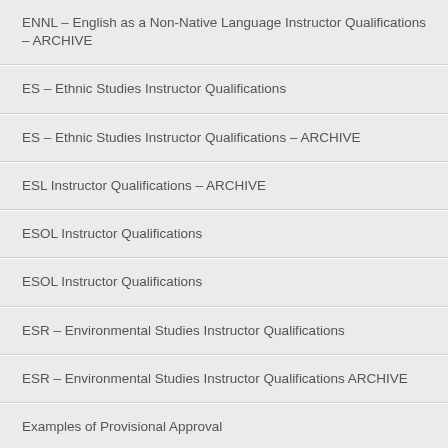ENNL – English as a Non-Native Language Instructor Qualifications – ARCHIVE
ES – Ethnic Studies Instructor Qualifications
ES – Ethnic Studies Instructor Qualifications – ARCHIVE
ESL Instructor Qualifications – ARCHIVE
ESOL Instructor Qualifications
ESOL Instructor Qualifications
ESR – Environmental Studies Instructor Qualifications
ESR – Environmental Studies Instructor Qualifications ARCHIVE
Examples of Provisional Approval